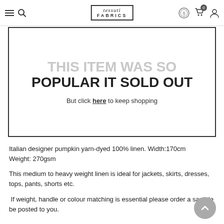Tessuti Fabrics — navigation header with hamburger menu, search, logo, currency, cart, and user icons
THIS ITEM WAS SO POPULAR IT SOLD OUT
But click here to keep shopping
Italian designer pumpkin yarn-dyed 100% linen. Width:170cm Weight: 270gsm
This medium to heavy weight linen is ideal for jackets, skirts, dresses, tops, pants, shorts etc.
If weight, handle or colour matching is essential please order a sample be posted to you.